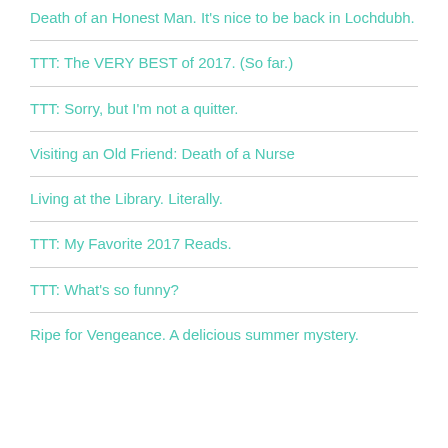Death of an Honest Man. It's nice to be back in Lochdubh.
TTT: The VERY BEST of 2017. (So far.)
TTT: Sorry, but I'm not a quitter.
Visiting an Old Friend: Death of a Nurse
Living at the Library. Literally.
TTT: My Favorite 2017 Reads.
TTT: What's so funny?
Ripe for Vengeance. A delicious summer mystery.